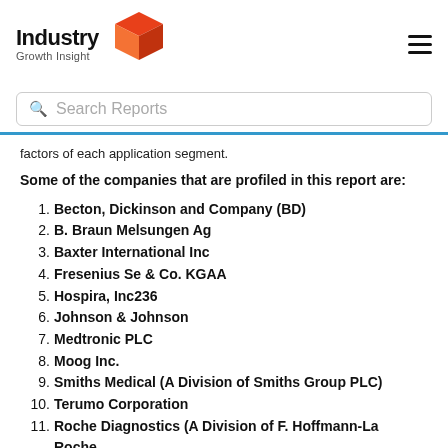[Figure (logo): Industry Growth Insight logo with red 3D box icon and hamburger menu icon]
Search Reports
factors of each application segment.
Some of the companies that are profiled in this report are:
1. Becton, Dickinson and Company (BD)
2. B. Braun Melsungen Ag
3. Baxter International Inc
4. Fresenius Se & Co. KGAA
5. Hospira, Inc236
6. Johnson & Johnson
7. Medtronic PLC
8. Moog Inc.
9. Smiths Medical (A Division of Smiths Group PLC)
10. Terumo Corporation
11. Roche Diagnostics (A Division of F. Hoffmann-La Roche...